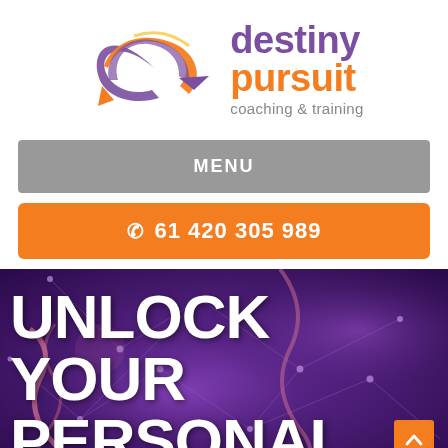[Figure (logo): Destiny Pursuit coaching & training logo with swirling arrow graphic icon in purple and orange]
MENU
61 420 305 989
[Figure (photo): Dark purple background with neural/DNA network imagery. Large white bold text reads UNLOCK YOUR PERSONAL with orange scroll-up button in lower right.]
UNLOCK YOUR
PERSONAL